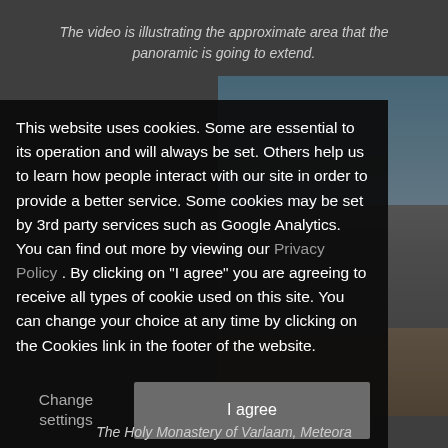[Figure (screenshot): Website screenshot with cookie consent overlay over a background image of a camera on a tripod at Meteora, Greece with rocky landscape and blue sky. A panoramic photo of Holy Monastery of Varlaam is partially visible on the right side.]
The video is illustrating the approximate area that the panoramic is going to extend.
This website uses cookies. Some are essential to its operation and will always be set. Others help us to learn how people interact with our site in order to provide a better service. Some cookies may be set by 3rd party services such as Google Analytics. You can find out more by viewing our Privacy Policy . By clicking on "I agree" you are agreeing to receive all types of cookie used on this site. You can change your choice at any time by clicking on the Cookies link in the footer of the website.
Change settings
I agree
The Holy Monastery of Varlaam, Meteora